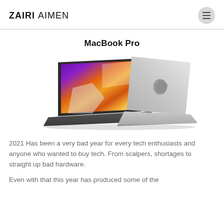ZAIRI AIMEN
MacBook Pro
[Figure (photo): Two MacBook Pro laptops shown back-to-back, one in Space Gray showing colorful screen, one in Silver showing Apple logo on lid]
2021 Has been a very bad year for every tech enthusiasts and anyone who wanted to buy tech. From scalpers, shortages to straight up bad hardware.
Even with that this year has produced some of the